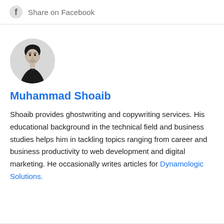[Figure (other): Facebook share button with icon and 'Share on Facebook' text]
[Figure (photo): Black and white circular portrait photo of Muhammad Shoaib, a young man with dark hair]
Muhammad Shoaib
Shoaib provides ghostwriting and copywriting services. His educational background in the technical field and business studies helps him in tackling topics ranging from career and business productivity to web development and digital marketing. He occasionally writes articles for Dynamologic Solutions.